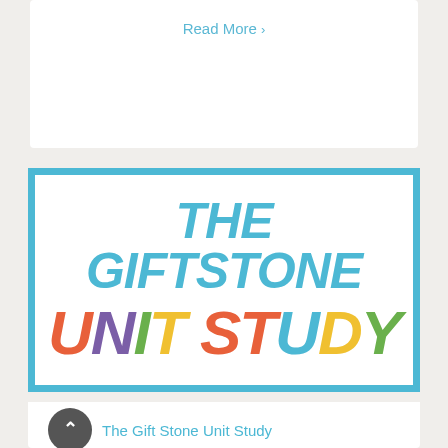Read More ›
[Figure (logo): The Giftstone Unit Study logo: large bold italic text 'THE GIFTSTONE' in blue on top line, 'UNIT STUDY' in multicolored letters below, all inside a blue bordered white rectangle]
The Gift Stone Unit Study
This unit study includes lessons and